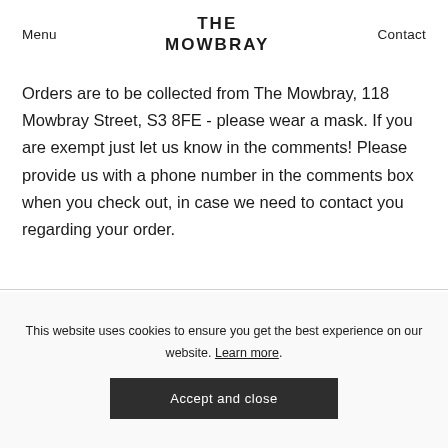Menu  THE MOWBRAY  Contact
Orders are to be collected from The Mowbray, 118 Mowbray Street, S3 8FE - please wear a mask. If you are exempt just let us know in the comments! Please provide us with a phone number in the comments box when you check out, in case we need to contact you regarding your order.
This website uses cookies to ensure you get the best experience on our website. Learn more.
Accept and close